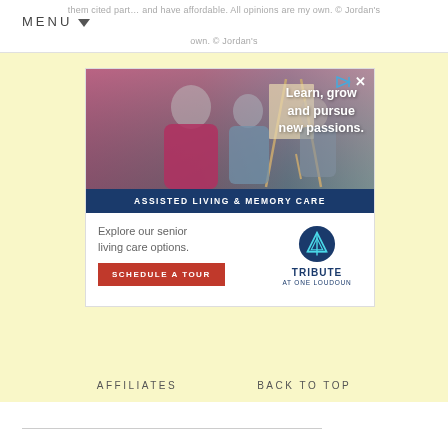them cited part… and have affordable. All opinions are my own. © Jordan's
MENU
[Figure (advertisement): Assisted Living & Memory Care advertisement for Tribute at One Loudoun. Shows elderly woman and younger people at art easels with text 'Learn, grow and pursue new passions.' Blue bar reads 'ASSISTED LIVING & MEMORY CARE'. Bottom section: 'Explore our senior living care options. SCHEDULE A TOUR' with Tribute at One Loudoun logo.]
AFFILIATES   BACK TO TOP